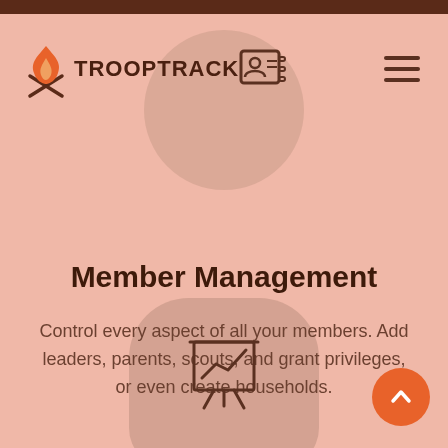[Figure (logo): TroopTrack logo with flame/campfire icon and ID card icon next to text]
[Figure (illustration): Hamburger menu icon (three horizontal lines) in top right corner]
Member Management
Control every aspect of all your members. Add leaders, parents, scouts, and grant privileges, or even create households.
[Figure (illustration): Presentation board/chart icon with upward trend line, displayed on a rounded blob shape at the bottom center]
[Figure (illustration): Orange circular scroll-to-top button with upward chevron arrow, bottom right]